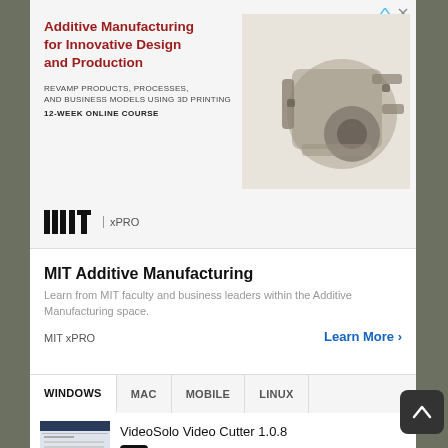[Figure (illustration): MIT xPRO advertisement banner for Additive Manufacturing online course. Features bold red headline text, course description, MIT xPRO logo, and a 3D-printed metal mechanical component on the right side.]
MIT Additive Manufacturing
Learn from MIT faculty and business leaders within the Additive Manufacturing space.
MIT xPRO    Learn More ›
WINDOWS  MAC  MOBILE  LINUX
VideoSolo Video Cutter 1.0.8
SHAREWARE
AVAide Blu-ray Player 1.0.10